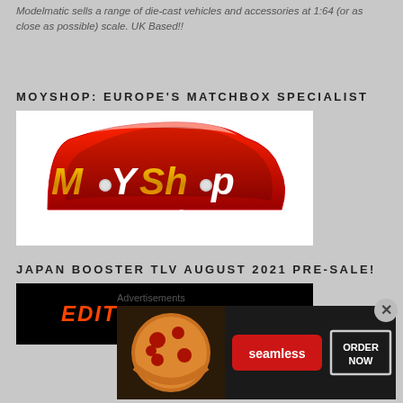Modelmatic sells a range of die-cast vehicles and accessories at 1:64 (or as close as possible) scale. UK Based!!
MOYSHOP: EUROPE'S MATCHBOX SPECIALIST
[Figure (logo): MoYShop - The Matchbox Specialist logo. Red car-shaped background with gold and white text reading MoYShop and The MATCHBOX Specialist below.]
JAPAN BOOSTER TLV AUGUST 2021 PRE-SALE!
[Figure (photo): Black banner image with red italic text reading EDITION LIMITED]
Advertisements
[Figure (screenshot): Seamless food delivery advertisement banner showing pizza, Seamless logo, and ORDER NOW button]